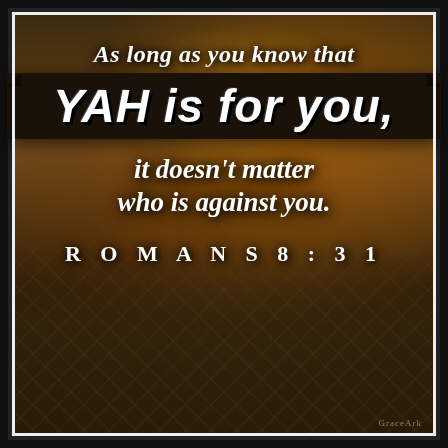As long as you know that
YAH is for you,
it doesn't matter who is against you.
ROMANS 8:31